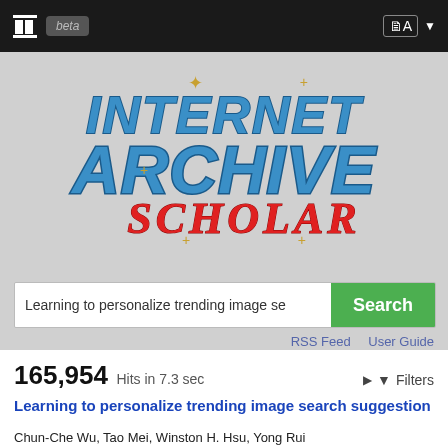Internet Archive Scholar (beta) — navigation bar
[Figure (logo): Internet Archive Scholar logo — stylized blue 3D block letters reading INTERNET ARCHIVE with red italic SCHOLAR below, on a gray background with gold star decorations]
Learning to personalize trending image se [Search] [RSS Feed] [User Guide]
165,954 Hits in 7.3 sec ▶ ▼ Filters
Learning to personalize trending image search suggestion
Chun-Che Wu, Tao Mei, Winston H. Hsu, Yong Rui
2014 Proceedings of the 37th international ACM SIGIR conference on Research & development in information retrieval - SIGIR '14
In this paper we move one step forward to investigate personalized...